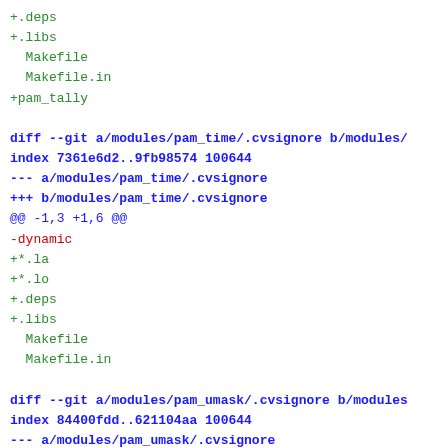+.deps
+.libs
  Makefile
  Makefile.in
+pam_tally

diff --git a/modules/pam_time/.cvsignore b/modules/
index 7361e6d2..9fb98574 100644
--- a/modules/pam_time/.cvsignore
+++ b/modules/pam_time/.cvsignore
@@ -1,3 +1,6 @@
-dynamic
+*.la
+*.lo
+.deps
+.libs
  Makefile
  Makefile.in

diff --git a/modules/pam_umask/.cvsignore b/modules
index 84400fdd..621104aa 100644
--- a/modules/pam_umask/.cvsignore
+++ b/modules/pam_umask/.cvsignore
@@ -1,5 +1,8 @@
+*.la
+*.lo
  *.so
  *~
-*.la
+.deps